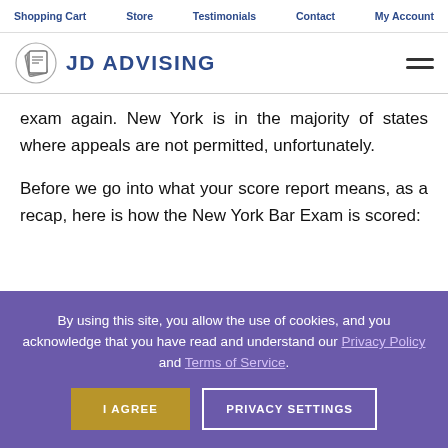Shopping Cart   Store   Testimonials   Contact   My Account
[Figure (logo): JD Advising logo with diploma icon and text 'JD ADVISING']
exam again. New York is in the majority of states where appeals are not permitted, unfortunately.
Before we go into what your score report means, as a recap, here is how the New York Bar Exam is scored:
By using this site, you allow the use of cookies, and you acknowledge that you have read and understand our Privacy Policy and Terms of Service. I AGREE   PRIVACY SETTINGS